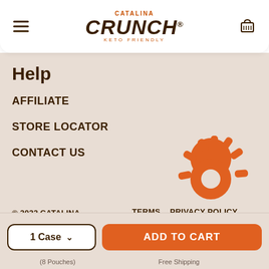Catalina Crunch – Keto Friendly
Help
AFFILIATE
STORE LOCATOR
CONTACT US
[Figure (logo): Orange Catalina Crunch sunburst/cookie icon]
© 2022 CATALINA CRUNCH    TERMS    PRIVACY POLICY    ACCESSIBILITY